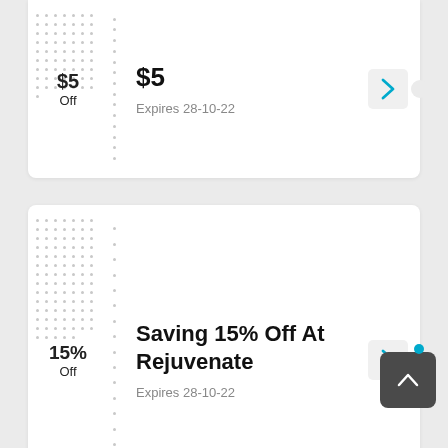$5 Off
$5
Expires 28-10-22
15% Off
Saving 15% Off At Rejuvenate
Expires 28-10-22
15% Off
Get This Code And Save 15%
Expires 28-10-22
Quick Clean Brand…